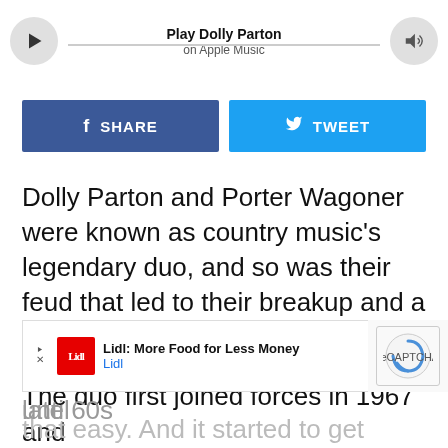[Figure (other): Apple Music player bar with play button, volume button, track title 'Play Dolly Parton on Apple Music', and progress line]
[Figure (infographic): Social share buttons: Facebook SHARE button (blue) and Twitter TWEET button (cyan)]
Dolly Parton and Porter Wagoner were known as country music's legendary duo, and so was their feud that led to their breakup and a nasty lawsuit.
The duo first joined forces in 1967 and achieved mild success from the late 60s until
[Figure (other): Lidl advertisement overlay: 'Lidl: More Food for Less Money' with Lidl logo and navigation arrow icon]
that easy. And it started to get tense